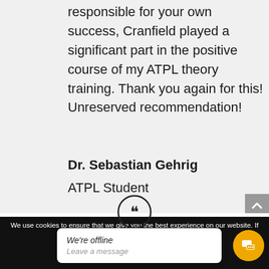responsible for your own success, Cranfield played a significant part in the positive course of my ATPL theory training. Thank you again for this! Unreserved recommendation!
Dr. Sebastian Gehrig
ATPL Student
[Figure (illustration): Closing double quotation mark icon in a circle]
We use cookies to ensure that we give you the best experience on our website. If you continue to use this site we will assume tha...
We're offline
Leave a message